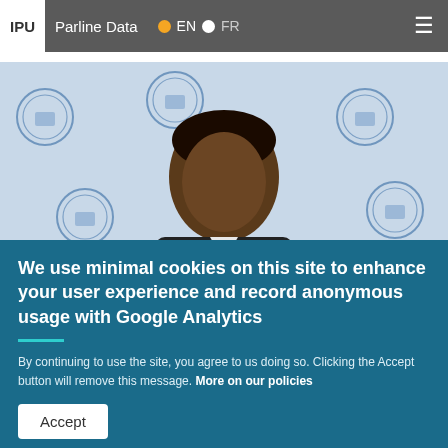IPU  Parline Data  EN  FR
[Figure (photo): Man in dark suit seated in front of a backdrop displaying IPU (Inter-Parliamentary Union) logos repeatedly, speaking or presenting.]
We use minimal cookies on this site to enhance your user experience and record anonymous usage with Google Analytics
By continuing to use the site, you agree to us doing so. Clicking the Accept button will remove this message. More on our policies
Accept